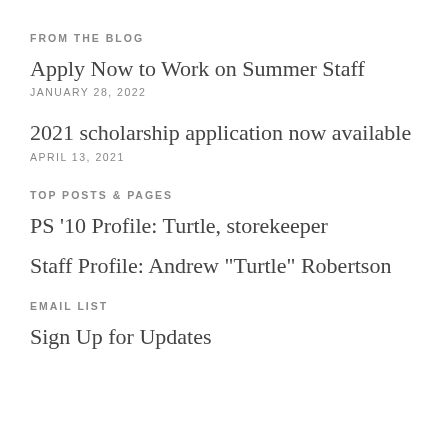FROM THE BLOG
Apply Now to Work on Summer Staff
JANUARY 28, 2022
2021 scholarship application now available
APRIL 13, 2021
TOP POSTS & PAGES
PS '10 Profile: Turtle, storekeeper
Staff Profile: Andrew "Turtle" Robertson
EMAIL LIST
Sign Up for Updates